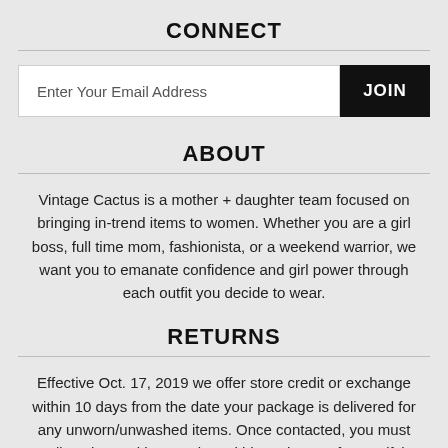CONNECT
[Figure (other): Email signup form with text input 'Enter Your Email Address' and a black JOIN button]
ABOUT
Vintage Cactus is a mother + daughter team focused on bringing in-trend items to women. Whether you are a girl boss, full time mom, fashionista, or a weekend warrior, we want you to emanate confidence and girl power through each outfit you decide to wear.
RETURNS
Effective Oct. 17, 2019 we offer store credit or exchange within 10 days from the date your package is delivered for any unworn/unwashed items. Once contacted, you must email us the tracking number within 72 hours of us verifying your return. We do not